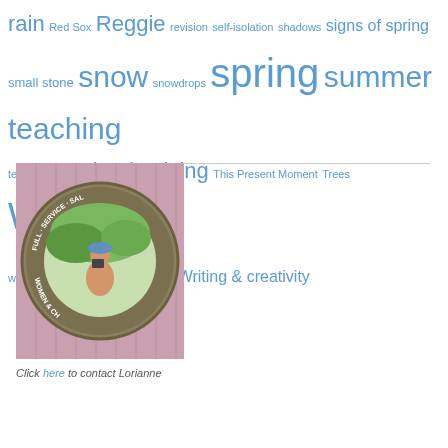rain Red Sox Reggie revision self-isolation shadows signs of spring small stone snow snowdrops spring summer teaching teaching prep Thanksgiving This Present Moment Trees Waban Walking weather winter writing Writing & creativity
[Figure (photo): Person taking a selfie in a circular decorative mirror mounted on a pink wooden wall. The mirror has text reading FULL SERVICE SALON and WOMEN & CHILDREN around its frame.]
Click here to contact Lorianne